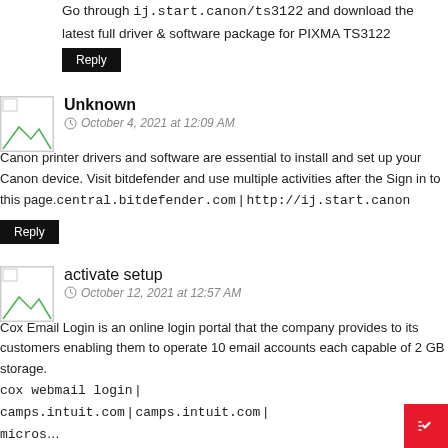Go through ij.start.canon/ts3122 and download the latest full driver & software package for PIXMA TS3122
Reply
Unknown
October 4, 2021 at 12:09 AM
Canon printer drivers and software are essential to install and set up your Canon device. Visit bitdefender and use multiple activities after the Sign in to this page.central.bitdefender.com | http://ij.start.canon
Reply
activate setup
October 12, 2021 at 12:57 AM
Cox Email Login is an online login portal that the company provides to its customers enabling them to operate 10 email accounts each capable of 2 GB storage. cox webmail login | camps.intuit.com | camps.intuit.com | microsoft365.com/setup